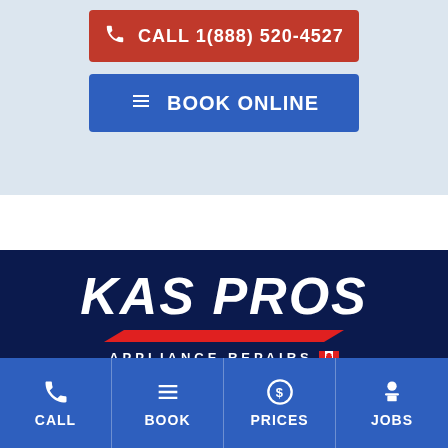CALL 1(888) 520-4527
BOOK ONLINE
KAS PROS
APPLIANCE REPAIRS
CALL | BOOK | PRICES | JOBS